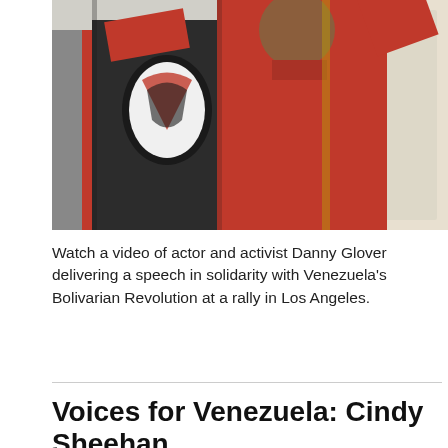[Figure (photo): Two men in red shirts posing together, one wearing a graphic t-shirt with a black jacket, the other in a solid red shirt, both with arms raised, in front of an ornate background]
Watch a video of actor and activist Danny Glover delivering a speech in solidarity with Venezuela's Bolivarian Revolution at a rally in Los Angeles.
Voices for Venezuela: Cindy Sheehan
Posted on Updates & Analysis by Answer Coalition · December 11, 2015 6:13 PM